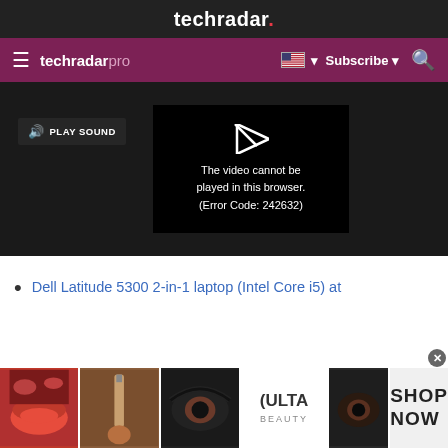techradar.
techradar pro  Subscribe
[Figure (screenshot): Video player showing error: 'The video cannot be played in this browser. (Error Code: 242632)' with a PLAY SOUND button on the left]
Dell Latitude 5300 2-in-1 laptop (Intel Core i5) at
[Figure (photo): Ulta Beauty advertisement banner showing makeup/beauty images with 'SHOP NOW' text]